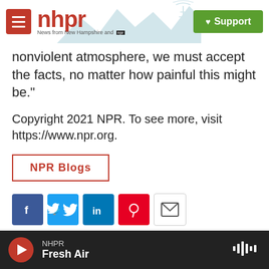[Figure (logo): NHPR logo with hamburger menu button, scenic mountain/radio tower illustration, and green Support button]
nonviolent atmosphere, we must accept the facts, no matter how painful this might be."
Copyright 2021 NPR. To see more, visit https://www.npr.org.
NPR Blogs
[Figure (other): Social sharing icons: Facebook, Twitter, LinkedIn, Pinterest, Email]
Scott Neuman
NHPR Fresh Air (audio player bar)